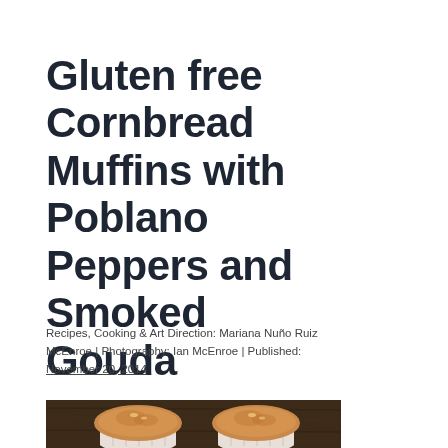Gluten free Cornbread Muffins with Poblano Peppers and Smoked Gouda
Recipes, Cooking & Art Direction: Mariana Nuño Ruiz McEnroe | Photography: Ian McEnroe | Published: November 20, 2014
[Figure (photo): Photograph of cornbread muffins on a dark wooden surface, showing the tops of the muffins with golden-brown color]